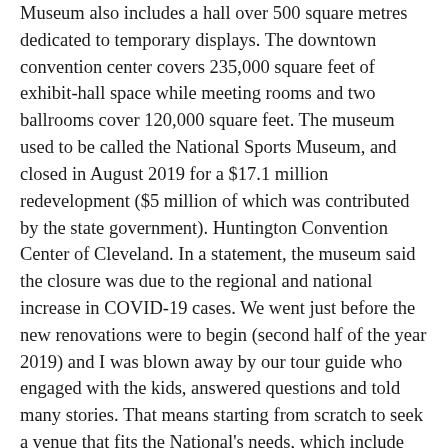Museum also includes a hall over 500 square metres dedicated to temporary displays. The downtown convention center covers 235,000 square feet of exhibit-hall space while meeting rooms and two ballrooms cover 120,000 square feet. The museum used to be called the National Sports Museum, and closed in August 2019 for a $17.1 million redevelopment ($5 million of which was contributed by the state government). Huntington Convention Center of Cleveland. In a statement, the museum said the closure was due to the regional and national increase in COVID-19 cases. We went just before the new renovations were to begin (second half of the year 2019) and I was blown away by our tour guide who engaged with the kids, answered questions and told many stories. That means starting from scratch to seek a venue that fits the National's needs, which include about 400,000 square feet of space, working relationships, open dates and proximity to hotels. All rights reserved (About Us). Back Print Print National Sports Museum. The National Sports Museum at Gate 3 MCG is open daily. Where to stay on road trip between Sydney and Melbourne? Sport and digital technology are set to collide in the Experience Lab, an exciting new interactive gallery at the National Sports Museum. Claim this business (212) 837-7950 Favorite More Directions Sponsored Topics. What will the weather be like in Melbourne? What else is there to do in Melbourne other than the main tourist attractions? Can be booked within a week the Melbourne Cricket Ground Museum and tourist.! Please follow